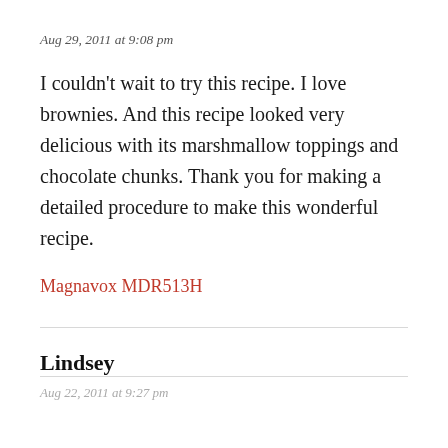Aug 29, 2011 at 9:08 pm
I couldn't wait to try this recipe. I love brownies. And this recipe looked very delicious with its marshmallow toppings and chocolate chunks. Thank you for making a detailed procedure to make this wonderful recipe.
Magnavox MDR513H
Lindsey
Aug 22, 2011 at 9:27 pm